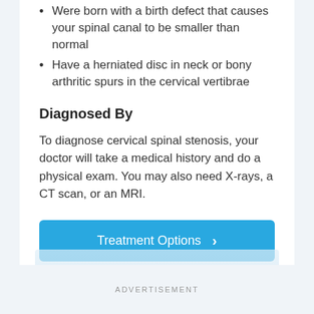Were born with a birth defect that causes your spinal canal to be smaller than normal
Have a herniated disc in neck or bony arthritic spurs in the cervical vertibrae
Diagnosed By
To diagnose cervical spinal stenosis, your doctor will take a medical history and do a physical exam. You may also need X-rays, a CT scan, or an MRI.
[Figure (other): Blue button labeled 'Treatment Options' with a right-pointing chevron arrow]
ADVERTISEMENT